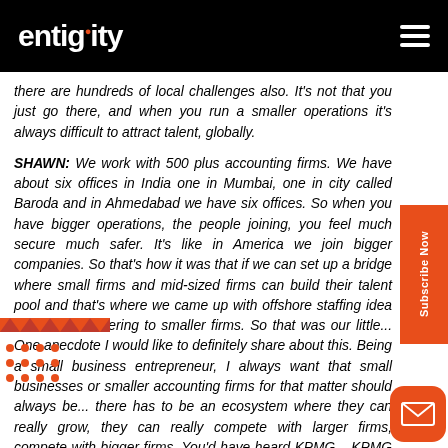entigrity
there are hundreds of local challenges also. It's not that you just go there, and when you run a smaller operations it's always difficult to attract talent, globally.
SHAWN: We work with 500 plus accounting firms. We have about six offices in India one in Mumbai, one in city called Baroda and in Ahmedabad we have six offices. So when you have bigger operations, the people joining, you feel much secure much safer. It's like in America we join bigger companies. So that's how it was that if we can set up a bridge where small firms and mid-sized firms can build their talent pool and that's where we came up with offshore staffing idea and started catering to smaller firms. So that was our little... One anecdote I would like to definitely share about this. Being a small business entrepreneur, I always want that small businesses or smaller accounting firms for that matter should always be... there has to be an ecosystem where they can really grow, they can really compete with larger firms, compete with bigger firms. You'd have heard KPMG... KPMG has launched this division and they are now getting